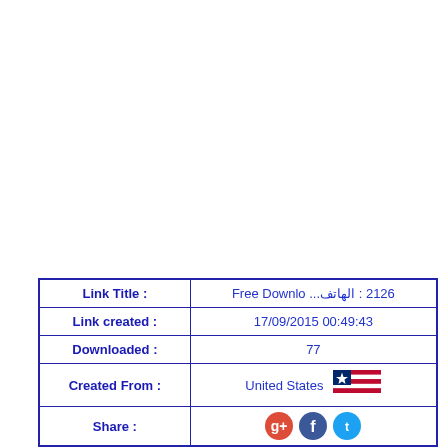| Link Title : | 2126 : الهاتف... Free Downlo |
| --- | --- |
| Link created : | 17/09/2015 00:49:43 |
| Downloaded : | 77 |
| Created From : | United States 🇺🇸 |
| Share : | (social icons) |